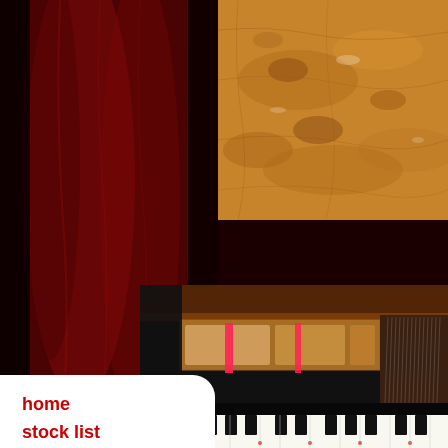[Figure (photo): Close-up of burled wood grain texture in warm orange/brown tones, top right of page]
Stei
[Figure (photo): Interior of a grand piano showing keys, strings, hammers and internal mechanism with pink damper visible, bottom right of page]
home
stock list
contact us